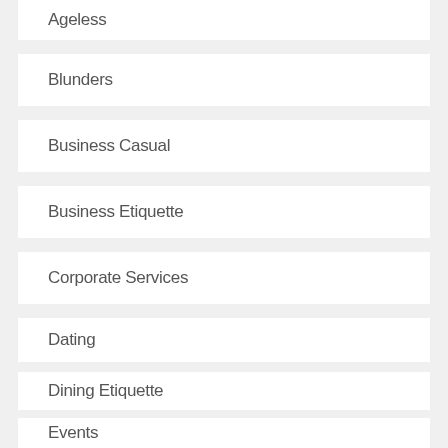Ageless
Blunders
Business Casual
Business Etiquette
Corporate Services
Dating
Dining Etiquette
Events
Executive Presence